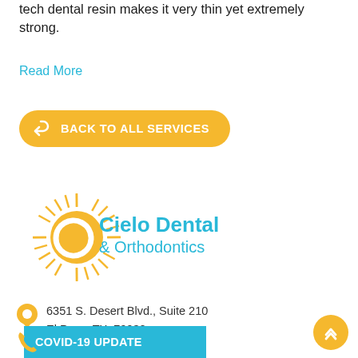tech dental resin makes it very thin yet extremely strong.
Read More
BACK TO ALL SERVICES
[Figure (logo): Cielo Dental & Orthodontics logo with sunburst graphic in yellow/gold and teal text]
6351 S. Desert Blvd., Suite 210
El Paso, TX  79932
COVID-19 UPDATE